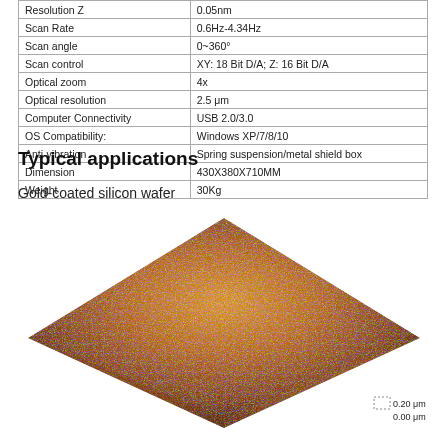| Parameter | Value |
| --- | --- |
| Resolution Z | 0.05nm |
| Scan Rate | 0.6Hz-4.34Hz |
| Scan angle | 0~360° |
| Scan control | XY: 18 Bit D/A; Z: 16 Bit D/A |
| Optical zoom | 4x |
| Optical resolution | 2.5 μm |
| Computer Connectivity | USB 2.0/3.0 |
| OS Compatibility: | Windows XP/7/8/10 |
| Anti-vibration | Spring suspension/metal shield box |
| Dimension | 430X380X710MM |
| Weight | 30Kg |
Typical applications
Gold-coated silicon wafer
[Figure (other): 3D AFM surface scan image of a gold-coated silicon wafer showing a pyramid-shaped topographic profile rendered in orange/brown false color. Scale bar shows 0.20 μm and 0.00 μm.]